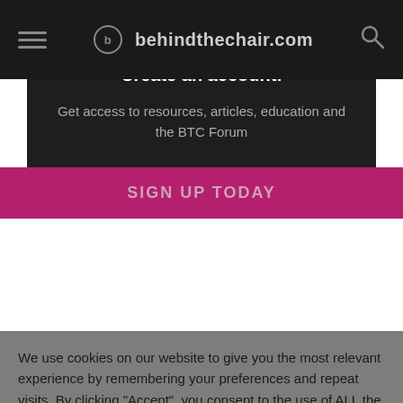behindthechair.com
Create an account!
Get access to resources, articles, education and the BTC Forum
SIGN UP TODAY
We use cookies on our website to give you the most relevant experience by remembering your preferences and repeat visits. By clicking “Accept”, you consent to the use of ALL the cookies.
Do not sell my personal information.
Cookie Settings
Accept